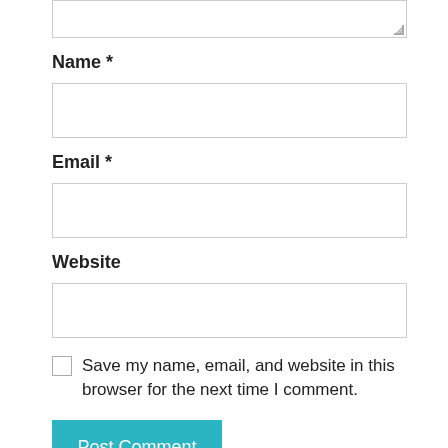[textarea stub at top]
Name *
[Name input field]
Email *
[Email input field]
Website
[Website input field]
Save my name, email, and website in this browser for the next time I comment.
Post Comment